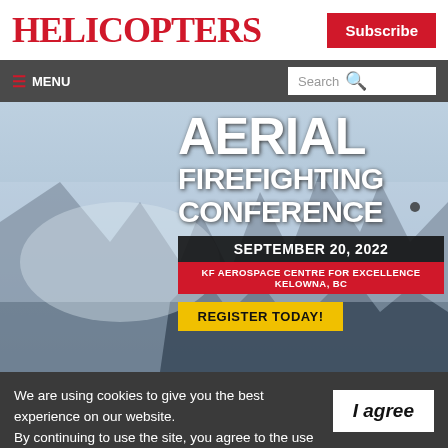Helicopters
Subscribe
☰ MENU
Search
[Figure (screenshot): Aerial Firefighting Conference banner — SEPTEMBER 20, 2022, KF Aerospace Centre for Excellence, Kelowna, BC. Register Today button. Mountain/smoke background.]
We are using cookies to give you the best experience on our website. By continuing to use the site, you agree to the use of cookies. To find out more, read our privacy policy.
I agree